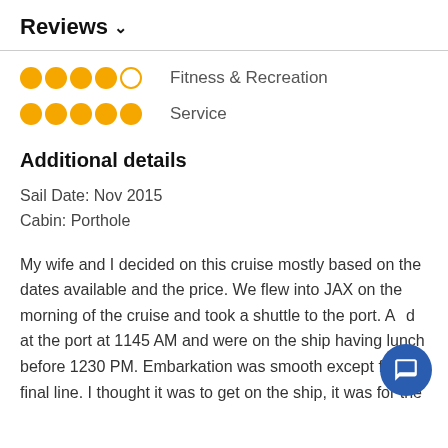Reviews ∨
Fitness & Recreation — 4.5 stars
Service — 5 stars
Additional details
Sail Date: Nov 2015
Cabin: Porthole
My wife and I decided on this cruise mostly based on the dates available and the price. We flew into JAX on the morning of the cruise and took a shuttle to the port. Arrived at the port at 1145 AM and were on the ship having lunch before 1230 PM. Embarkation was smooth except for the final line. I thought it was to get on the ship, it was for the